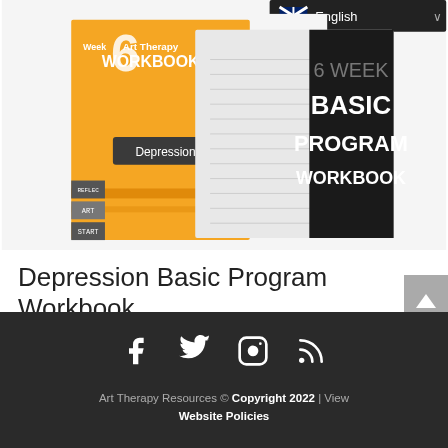[Figure (photo): Product image: 6 Week Basic Program Workbook for Depression, showing orange and black cover with workbook pages and START/ART/REFLECT tabs. English language selector visible in top right.]
Depression Basic Program Workbook
$22.73 AUD
[Figure (infographic): Dark footer with social media icons: Facebook, Twitter, Instagram, RSS feed]
Art Therapy Resources © Copyright 2022 | View Website Policies